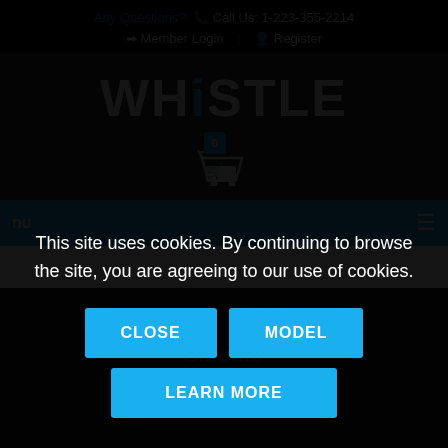Any Questions? 📞 Call Us: 1-223-355-2214
➡ Member Login | 👤 Register
WHISTLE
[Figure (illustration): Shopping cart icon with blue badge showing 0]
nu ≡
This site uses cookies. By continuing to browse the site, you are agreeing to our use of cookies.
CLOSE   MODEL   LEARN MORE